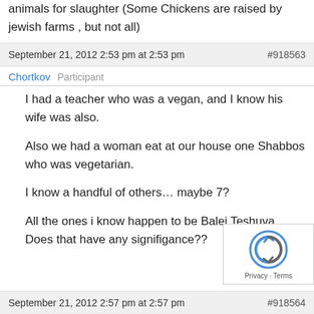animals for slaughter (Some Chickens are raised by jewish farms , but not all)
September 21, 2012 2:53 pm at 2:53 pm  #918563
Chortkov  Participant
I had a teacher who was a vegan, and I know his wife was also.

Also we had a woman eat at our house one Shabbos who was vegetarian.

I know a handful of others… maybe 7?

All the ones i know happen to be Balei Teshuva. Does that have any signifigance??
September 21, 2012 2:57 pm at 2:57 pm  #918564